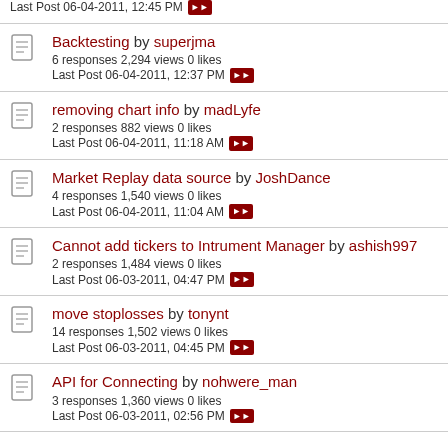Last Post 06-04-2011, 12:45 PM
Backtesting by superjma
6 responses 2,294 views 0 likes
Last Post 06-04-2011, 12:37 PM
removing chart info by madLyfe
2 responses 882 views 0 likes
Last Post 06-04-2011, 11:18 AM
Market Replay data source by JoshDance
4 responses 1,540 views 0 likes
Last Post 06-04-2011, 11:04 AM
Cannot add tickers to Intrument Manager by ashish997
2 responses 1,484 views 0 likes
Last Post 06-03-2011, 04:47 PM
move stoplosses by tonynt
14 responses 1,502 views 0 likes
Last Post 06-03-2011, 04:45 PM
API for Connecting by nohwere_man
3 responses 1,360 views 0 likes
Last Post 06-03-2011, 02:56 PM